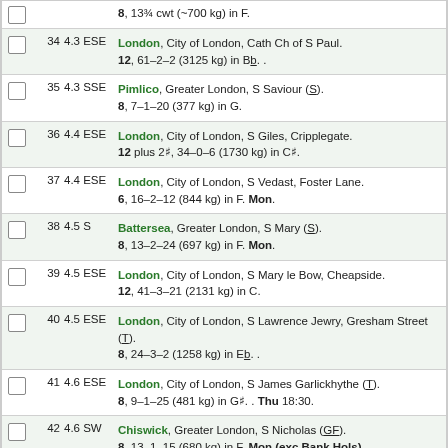8, 13¾ cwt (~700 kg) in F.
34  4.3 ESE  London, City of London, Cath Ch of S Paul. 12, 61–2–2 (3125 kg) in Bb. .
35  4.3 SSE  Pimlico, Greater London, S Saviour (S). 8, 7–1–20 (377 kg) in G.
36  4.4 ESE  London, City of London, S Giles, Cripplegate. 12 plus 2#, 34–0–6 (1730 kg) in C#.
37  4.4 ESE  London, City of London, S Vedast, Foster Lane. 6, 16–2–12 (844 kg) in F. Mon.
38  4.5 S  Battersea, Greater London, S Mary (S). 8, 13–2–24 (697 kg) in F. Mon.
39  4.5 ESE  London, City of London, S Mary le Bow, Cheapside. 12, 41–3–21 (2131 kg) in C.
40  4.5 ESE  London, City of London, S Lawrence Jewry, Gresham Street (T). 8, 24–3–2 (1258 kg) in Eb. .
41  4.6 ESE  London, City of London, S James Garlickhythe (T). 8, 9–1–25 (481 kg) in G#. . Thu 18:30.
42  4.6 SW  Chiswick, Greater London, S Nicholas (GF). 8, 13–1–15 (680 kg) in F. Mon (exc Bank Hols).
43  4.7 ENE  Stoke Newington, Greater London, S Mary, Old